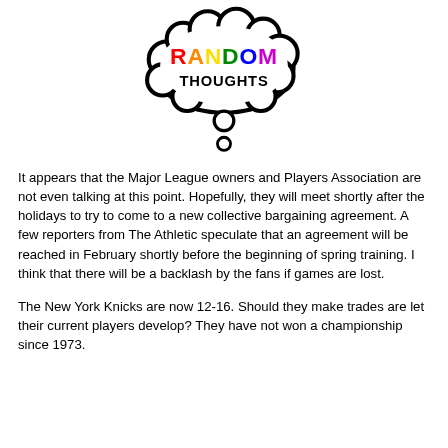[Figure (illustration): Thought bubble logo with the word RANDOM in multicolored letters and THOUGHTS in black bold letters underneath, drawn in cartoon style with a thought bubble cloud shape and two small circles below]
It appears that the Major League owners and Players Association are not even talking at this point.  Hopefully, they will meet shortly after the holidays to try to come to a new collective bargaining agreement.  A few reporters from The Athletic speculate that an agreement will be reached in February shortly before the beginning of spring training.  I think that there will be a backlash by the fans if games are lost.
The New York Knicks are now 12-16.  Should they make trades are let their current players develop?  They have not won a championship since 1973.